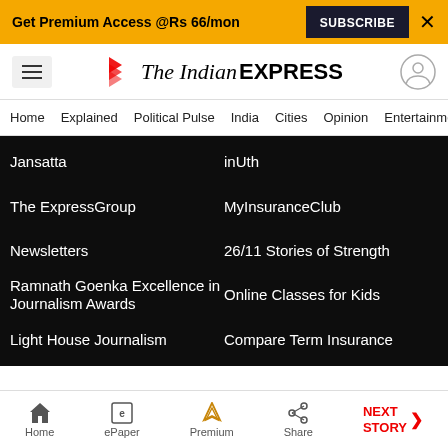Get Premium Access @Rs 66/mon  SUBSCRIBE  X
The Indian EXPRESS — Home | Explained | Political Pulse | India | Cities | Opinion | Entertainment
Jansatta
inUth
The ExpressGroup
MyInsuranceClub
Newsletters
26/11 Stories of Strength
Ramnath Goenka Excellence in Journalism Awards
Online Classes for Kids
Light House Journalism
Compare Term Insurance
Home | ePaper | Premium | Share | NEXT STORY